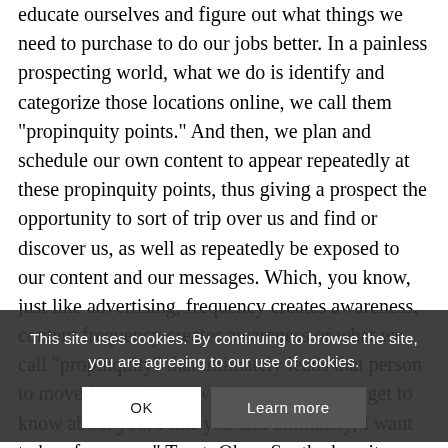educate ourselves and figure out what things we need to purchase to do our jobs better. In a painless prospecting world, what we do is identify and categorize those locations online, we call them "propinquity points." And then, we plan and schedule our own content to appear repeatedly at these propinquity points, thus giving a prospect the opportunity to sort of trip over us and find or discover us, as well as repeatedly be exposed to our content and our messages. Which, you know, just like advertising, frequency creates awareness, content frequency creates awareness or what we call "propinquity" that ultimately leads that person to move from a "I know who you are" to "I get to know about you, I like you and ultimately, I want to buy from you." Trent: Okay. So, the key, it would seem to me, is two critical success factors. One is, "I've got to make sure that I've got the right content that is going to resonate and speak to the audience that I have chosen." And then, "I also have to make sure that I get that content into those propinquity points on a regular basis. Is that correct? To actually boil this all down to those two simple points," if I nail both of those, then you can painlessly prospect? (laughs) I laugh about how my painless
This site uses cookies. By continuing to browse the site, you are agreeing to our use of cookies.